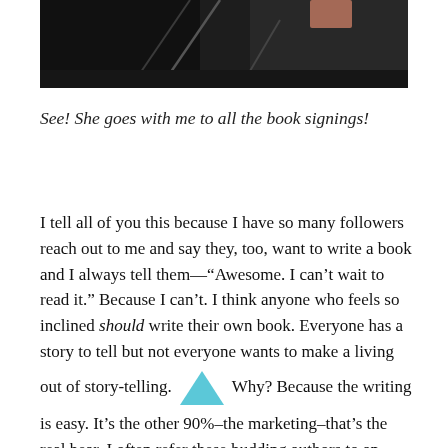[Figure (photo): A dark photograph showing what appears to be a black folding table with shadows and a person's hand visible in the upper right area, taken outdoors on sandy or dirt ground.]
See!  She goes with me to all the book signings!
I tell all of you this because I have so many followers reach out to me and say they, too, want to write a book and I always tell them—“Awesome.  I can’t wait to read it.”  Because I can’t.  I think anyone who feels so inclined should write their own book.  Everyone has a story to tell but not everyone wants to make a living out of story-telling.  Why?  Because the writing is easy.  It’s the other 90%–the marketing–that’s the real bear.  I often refer these budding authors to an